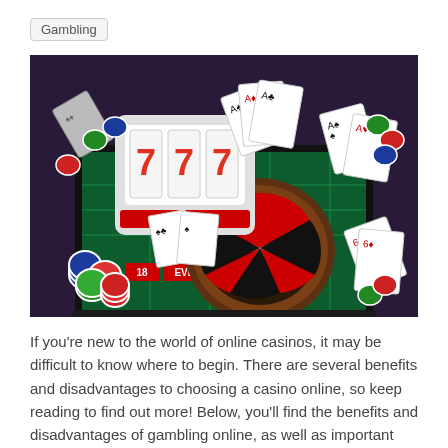Gambling
[Figure (photo): Online casino themed image showing a roulette wheel, slot machine with 777, playing cards, poker chips, and a laptop with a green casino table on a dark purple background.]
If you're new to the world of online casinos, it may be difficult to know where to begin. There are several benefits and disadvantages to choosing a casino online, so keep reading to find out more! Below, you'll find the benefits and disadvantages of gambling online, as well as important information about bonuses and licenses. After you've read through the tips